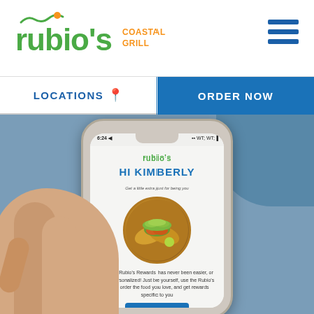[Figure (logo): Rubio's Coastal Grill logo with green wave and orange text]
[Figure (illustration): Hamburger menu icon (three horizontal blue lines)]
LOCATIONS 📍
ORDER NOW
[Figure (photo): Hand holding a smartphone displaying the Rubio's app with 'HI KIMBERLY' screen, showing tacos and rewards text: 'Earning Rubio's Rewards has never been easier, or more personalized! Just be yourself, use the Rubio's app to order the food you love, and get rewards specific to you']